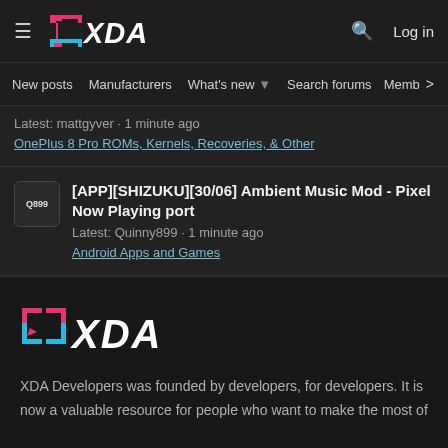XDA Developers - hamburger menu, XDA logo, search, Log in
New posts | Manufacturers | What's new | Search forums | Membe >
Latest: mattgyver · 1 minute ago
OnePlus 8 Pro ROMs, Kernels, Recoveries, & Other
[APP][SHIZUKU][30/06] Ambient Music Mod - Pixel Now Playing port
Latest: Quinny899 · 1 minute ago
Android Apps and Games
[Figure (logo): XDA Developers logo (large, footer version) with bracket icon in pink/cyan and XDA text in white]
XDA Developers was founded by developers, for developers. It is now a valuable resource for people who want to make the most of